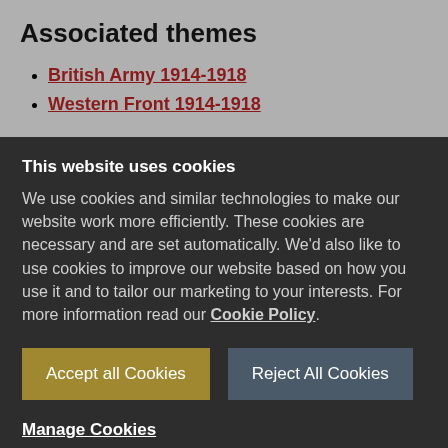Associated themes
British Army 1914-1918
Western Front 1914-1918
This website uses cookies
We use cookies and similar technologies to make our website work more efficiently. These cookies are necessary and are set automatically. We'd also like to use cookies to improve our website based on how you use it and to tailor our marketing to your interests. For more information read our Cookie Policy.
Accept all Cookies
Reject All Cookies
Manage Cookies